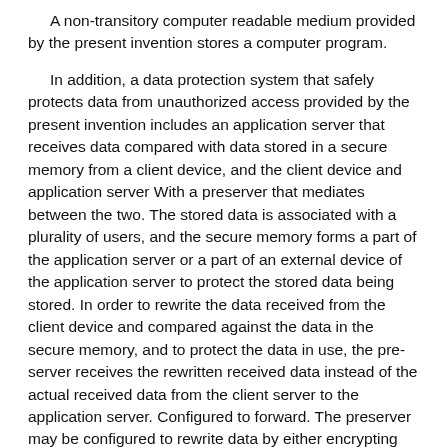A non-transitory computer readable medium provided by the present invention stores a computer program.
In addition, a data protection system that safely protects data from unauthorized access provided by the present invention includes an application server that receives data compared with data stored in a secure memory from a client device, and the client device and application server With a preserver that mediates between the two. The stored data is associated with a plurality of users, and the secure memory forms a part of the application server or a part of an external device of the application server to protect the stored data being stored. In order to rewrite the data received from the client device and compared against the data in the secure memory, and to protect the data in use, the pre-server receives the rewritten received data instead of the actual received data from the client server to the application server. Configured to forward. The preserver may be configured to rewrite data by either encrypting data, rewriting data to a temporary tag, or rewriting data to a hash value using a shared key between the preserver and the device. The system may comprise a processor that compares data from the client device to data stored in